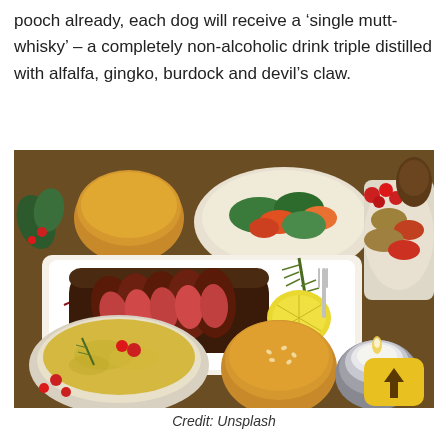pooch already, each dog will receive a ‘single mutt-whisky’ – a completely non-alcoholic drink triple distilled with alfalfa, gingko, burdock and devil’s claw.
[Figure (photo): A festive food spread on a wooden table featuring a sliced herb-crusted roast meat on a white rectangular plate with lemon and rosemary garnish, a bowl of cheesy gratin, bread rolls, a bowl of roasted vegetables, cranberries, a pine cone, a small tealight candle, and a yellow button with an upward arrow in the bottom right corner.]
Credit: Unsplash